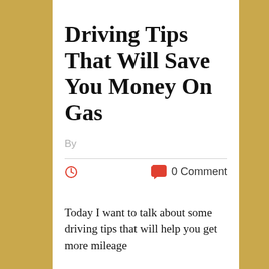Driving Tips That Will Save You Money On Gas
By
0 Comment
Today I want to talk about some driving tips that will help you get more mileage